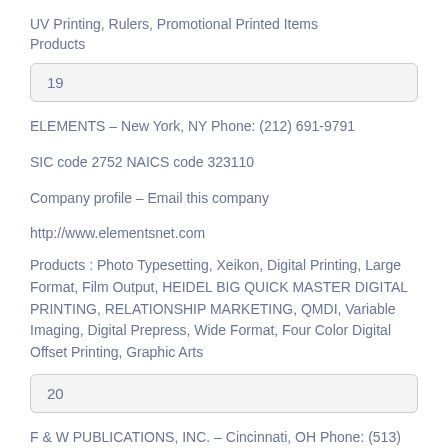UV Printing, Rulers, Promotional Printed Items
Products
19
ELEMENTS – New York, NY Phone: (212) 691-9791
SIC code 2752 NAICS code 323110
Company profile – Email this company
http://www.elementsnet.com
Products : Photo Typesetting, Xeikon, Digital Printing, Large Format, Film Output, HEIDEL BIG QUICK MASTER DIGITAL PRINTING, RELATIONSHIP MARKETING, QMDI, Variable Imaging, Digital Prepress, Wide Format, Four Color Digital Offset Printing, Graphic Arts
20
F & W PUBLICATIONS, INC. – Cincinnati, OH Phone: (513)